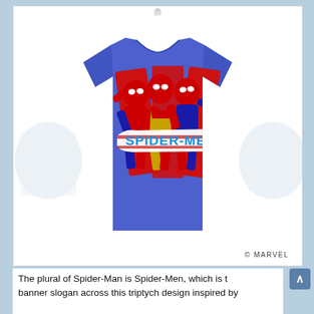[Figure (photo): A royal blue heather t-shirt featuring a 'Spider-Men' triptych design with three Spider-Man characters posed dynamically against a red graphic background. The word 'SPIDER-MEN' appears in bold blue letters on a white banner across the chest. The t-shirt is displayed on a white background. A copyright credit '© MARVEL' appears in the bottom right corner of the image frame.]
The plural of Spider-Man is Spider-Men, which is the banner slogan across this triptych design inspired by